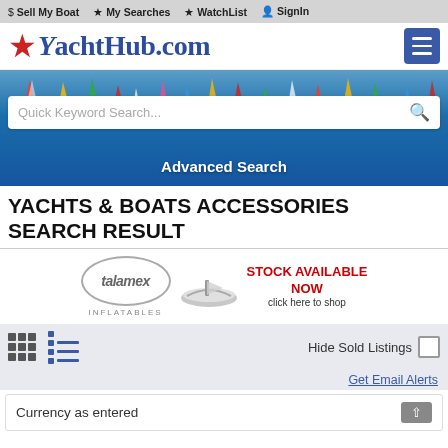$ Sell My Boat  ★ My Searches  ★ WatchList  👤 SignIn
[Figure (logo): YachtHub.com logo with red star and hamburger menu button]
[Figure (screenshot): Hero banner with sailboat regatta background, Quick Keyword Search input box, and Advanced Search link]
YACHTS & BOATS ACCESSORIES SEARCH RESULT
[Figure (infographic): Talamex Inflatables advertisement banner showing logo, dinghy image, and STOCK AVAILABLE NOW text with click here to shop]
Hide Sold Listings
Get Email Alerts
Currency as entered